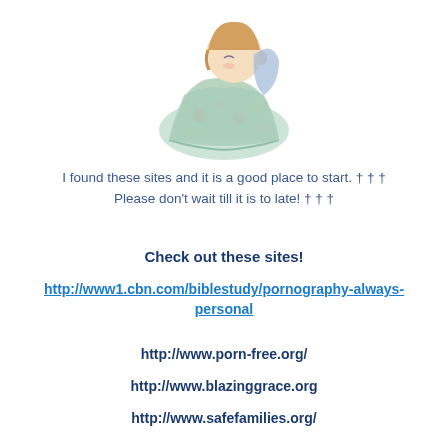[Figure (illustration): A soft pastel-colored illustration of a child figure sitting and wrapped in a floral blanket, Precious Moments style artwork.]
I found these sites and it is a good place to start. † † †
Please don't wait till it is to late! † † †
Check out these sites!
http://www1.cbn.com/biblestudy/pornography-always-personal
http://www.porn-free.org/
http://www.blazinggrace.org
http://www.safefamilies.org/